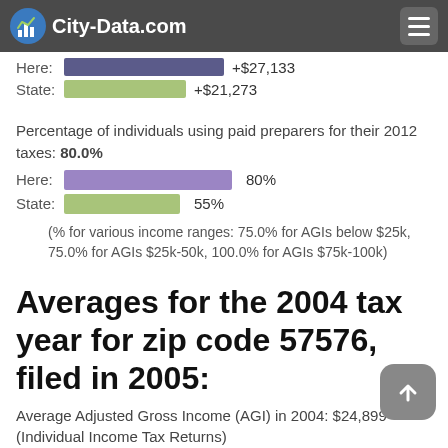City-Data.com
Here: +$27,133
State: +$21,273
Percentage of individuals using paid preparers for their 2012 taxes: 80.0%
Here: 80%
State: 55%
(% for various income ranges: 75.0% for AGIs below $25k, 75.0% for AGIs $25k-50k, 100.0% for AGIs $75k-100k)
Averages for the 2004 tax year for zip code 57576, filed in 2005:
Average Adjusted Gross Income (AGI) in 2004: $24,899
(Individual Income Tax Returns)